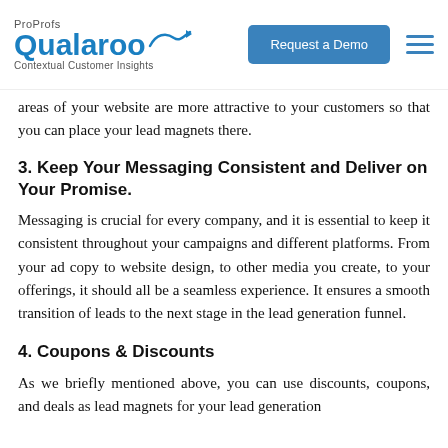ProProfs Qualaroo Contextual Customer Insights | Request a Demo
areas of your website are more attractive to your customers so that you can place your lead magnets there.
3. Keep Your Messaging Consistent and Deliver on Your Promise.
Messaging is crucial for every company, and it is essential to keep it consistent throughout your campaigns and different platforms. From your ad copy to website design, to other media you create, to your offerings, it should all be a seamless experience. It ensures a smooth transition of leads to the next stage in the lead generation funnel.
4. Coupons & Discounts
As we briefly mentioned above, you can use discounts, coupons, and deals as lead magnets for your lead generation